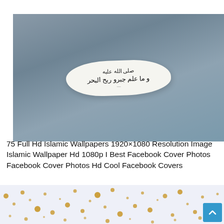[Figure (photo): A torn piece of white paper with Arabic calligraphic text written on it, placed on a dark grey-blue gradient background.]
75 Full Hd Islamic Wallpapers 1920×1080 Resolution Image Islamic Wallpaper Hd 1080p I Best Facebook Cover Photos Facebook Cover Photos Hd Cool Facebook Covers
[Figure (photo): Partial view of a light blue/white background with scattered golden/yellow dots and small star-like patterns, resembling a decorative Islamic wallpaper.]